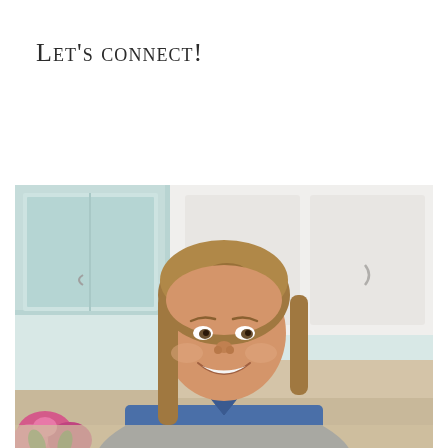Let's connect!
[Figure (photo): A smiling woman with long blonde hair wearing a blue denim shirt/apron, seated in a bright white kitchen with glass-front cabinet doors visible in the background and pink flowers in the lower left corner.]